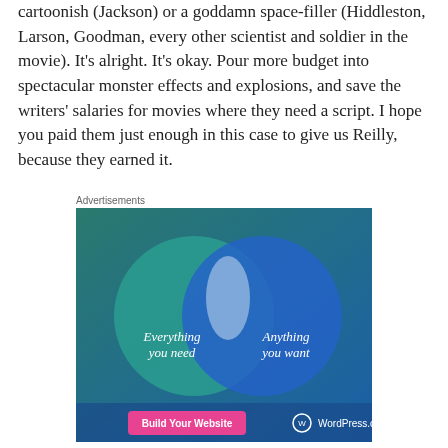cartoonish (Jackson) or a goddamn space-filler (Hiddleston, Larson, Goodman, every other scientist and soldier in the movie). It's alright. It's okay. Pour more budget into spectacular monster effects and explosions, and save the writers' salaries for movies where they need a script. I hope you paid them just enough in this case to give us Reilly, because they earned it.
Advertisements
[Figure (infographic): WordPress.com advertisement showing a Venn diagram with two overlapping circles on a blue/teal background. Left circle (teal) labeled 'Everything you need', right circle (blue) labeled 'Anything you want'. Bottom has a pink button 'Build Your Website' and WordPress.com logo.]